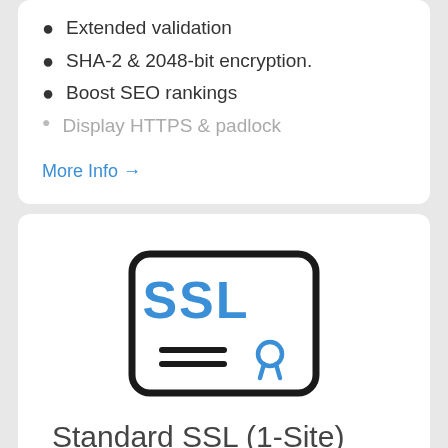Extended validation
SHA-2 & 2048-bit encryption.
Boost SEO rankings
Display HTTPS & padlock
More Info →
[Figure (illustration): SSL certificate icon — a rounded rectangle with 'SSL' in bold blue text and two horizontal lines plus a blue ribbon/badge icon below]
Standard SSL (1-Site)
$15.99